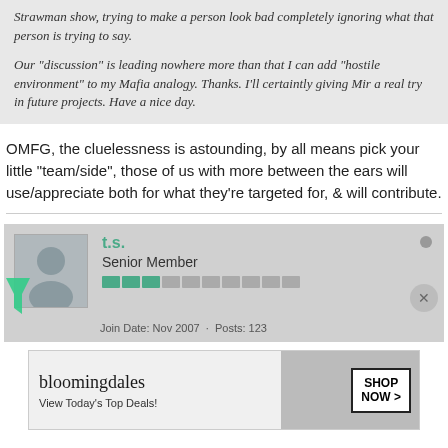Strawman show, trying to make a person look bad completely ignoring what that person is trying to say.

Our "discussion" is leading nowhere more than that I can add "hostile environment" to my Mafia analogy. Thanks. I'll certaintly giving Mir a real try in future projects. Have a nice day.
OMFG, the cluelessness is astounding, by all means pick your little "team/side", those of us with more between the ears will use/appreciate both for what they're targeted for, & will contribute.
t.s.
Senior Member
[Figure (screenshot): Bloomingdale's advertisement banner: 'View Today's Top Deals! SHOP NOW >']